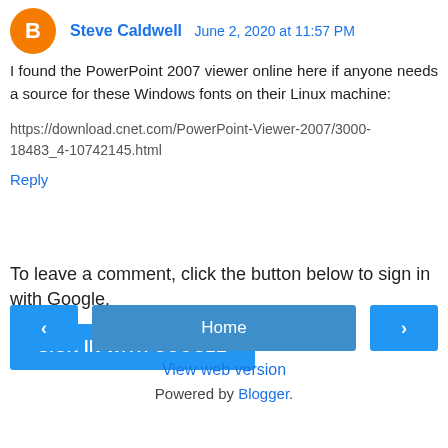Steve Caldwell  June 2, 2020 at 11:57 PM
I found the PowerPoint 2007 viewer online here if anyone needs a source for these Windows fonts on their Linux machine:

https://download.cnet.com/PowerPoint-Viewer-2007/3000-18483_4-10742145.html
Reply
To leave a comment, click the button below to sign in with Google.
SIGN IN WITH GOOGLE
Home
View web version
Powered by Blogger.